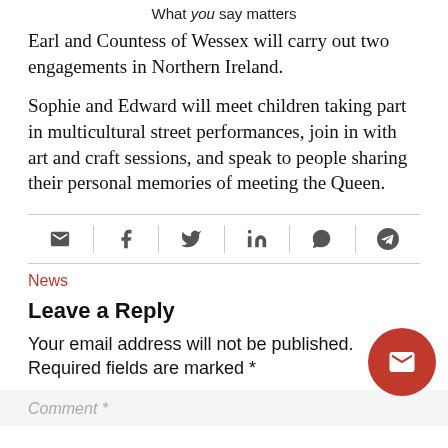What you say matters
Earl and Countess of Wessex will carry out two engagements in Northern Ireland.
Sophie and Edward will meet children taking part in multicultural street performances, join in with art and craft sessions, and speak to people sharing their personal memories of meeting the Queen.
[Figure (infographic): Social share icons bar: email, facebook, twitter, linkedin, whatsapp, telegram]
News
Leave a Reply
Your email address will not be published. Required fields are marked *
Comment *